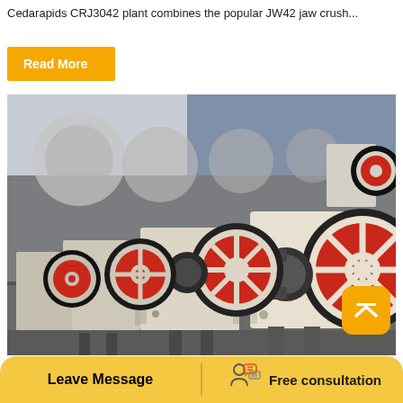Cedarapids CRJ3042 plant combines the popular JW42 jaw crush...
[Figure (other): Orange/yellow 'Read More' button]
[Figure (photo): Row of industrial jaw crusher machines with large red and black flywheels in a factory/warehouse setting. Machines are cream/white with red accents, lined up receding into the background.]
Leave Message
[Figure (illustration): Icon of a person at a desk with speech/message bubbles]
Free consultation